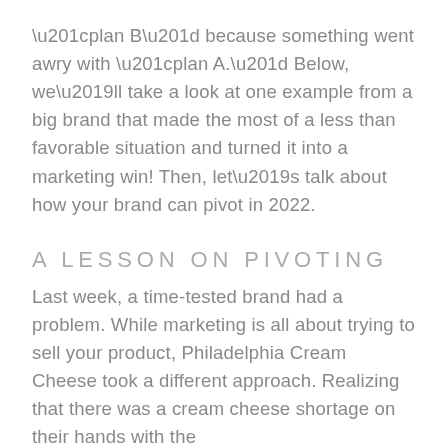“plan B” because something went awry with “plan A.” Below, we’ll take a look at one example from a big brand that made the most of a less than favorable situation and turned it into a marketing win! Then, let’s talk about how your brand can pivot in 2022.
A LESSON ON PIVOTING
Last week, a time-tested brand had a problem. While marketing is all about trying to sell your product, Philadelphia Cream Cheese took a different approach. Realizing that there was a cream cheese shortage on their hands with the